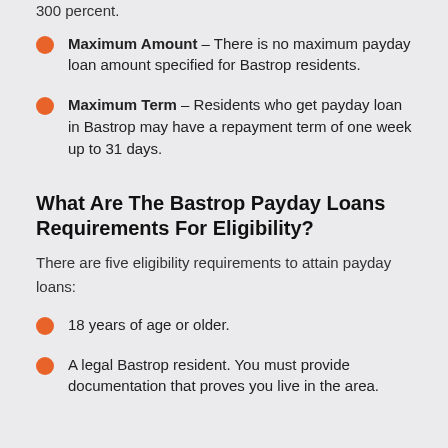Maximum Amount – There is no maximum payday loan amount specified for Bastrop residents.
Maximum Term – Residents who get payday loan in Bastrop may have a repayment term of one week up to 31 days.
What Are The Bastrop Payday Loans Requirements For Eligibility?
There are five eligibility requirements to attain payday loans:
18 years of age or older.
A legal Bastrop resident. You must provide documentation that proves you live in the area.